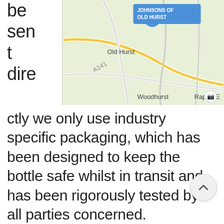[Figure (screenshot): Google Maps screenshot showing location of Johnsons of Old Hurst, with Old Hurst, Pidley, Woodhurst, and Raptor E visible as place labels, and A141 road marked.]
be sent directly we only use industry specific packaging, which has been designed to keep the bottle safe whilst in transit and has been rigorously tested by all parties concerned.
You can add a personal gift card message with your wine gift, which is perfect for saying happy birthday, thank you, congratulations, best wishes, sorry you're leaving, happy retirement, get well soon or even I love